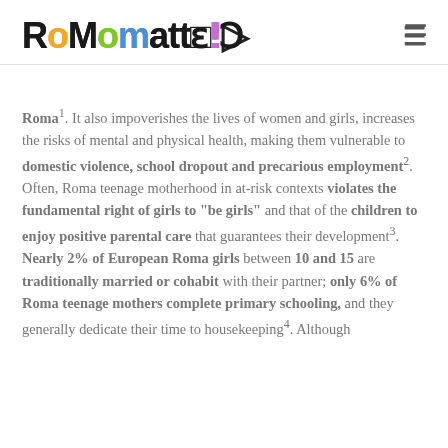RoMomatter!
Roma¹. It also impoverishes the lives of women and girls, increases the risks of mental and physical health, making them vulnerable to domestic violence, school dropout and precarious employment². Often, Roma teenage motherhood in at-risk contexts violates the fundamental right of girls to "be girls" and that of the children to enjoy positive parental care that guarantees their development³.
Nearly 2% of European Roma girls between 10 and 15 are traditionally married or cohabit with their partner; only 6% of Roma teenage mothers complete primary schooling, and they generally dedicate their time to housekeeping⁴. Although